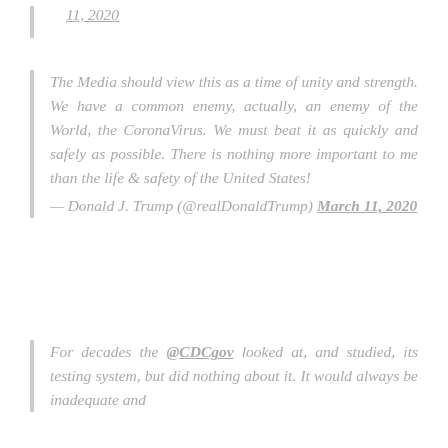11, 2020
The Media should view this as a time of unity and strength. We have a common enemy, actually, an enemy of the World, the CoronaVirus. We must beat it as quickly and safely as possible. There is nothing more important to me than the life & safety of the United States! — Donald J. Trump (@realDonaldTump) March 11, 2020
For decades the @CDCgov looked at, and studied, its testing system, but did nothing about it. It would always be inadequate and